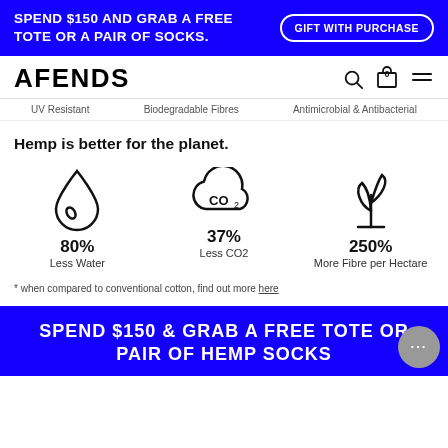SPEND $150 AND GRAB A FREE TOTE OR A PAIR OF SOCKS. | GIFT WITH PURCHASE
[Figure (logo): AFENDS logo with navigation icons (search, cart with 0, hamburger menu)]
UV Resistant   Biodegradable Fibres   Antimicrobial & Antibacterial
Hemp is better for the planet.
[Figure (infographic): Three icons with stats: water drop icon - 80% Less Water; CO2 cloud icon - 37% Less CO2; plant/seedling icon - 250% More Fibre per Hectare]
* when compared to conventional cotton, find out more here
SPEND $150 & GRAB A FREE TOTE OR PAIR OF HEMP SOCKS